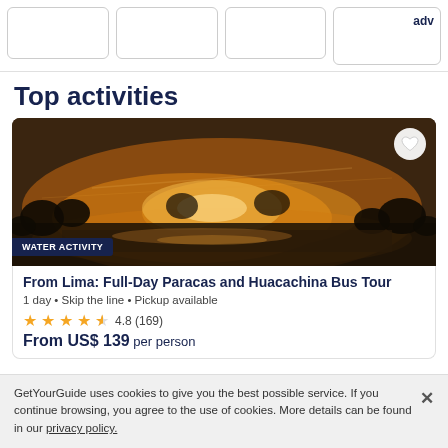[Figure (other): Row of placeholder card outlines, partially visible at top of page. Last card shows text 'adv'.]
Top activities
[Figure (photo): Aerial nighttime photo of Huacachina oasis lit up with golden lights, surrounded by dark landscape. Badge reads 'WATER ACTIVITY'. Heart icon in top right corner.]
From Lima: Full-Day Paracas and Huacachina Bus Tour
1 day • Skip the line • Pickup available
4.8 (169)
From US$ 139 per person
GetYourGuide uses cookies to give you the best possible service. If you continue browsing, you agree to the use of cookies. More details can be found in our privacy policy.